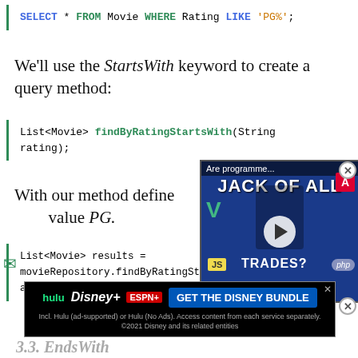SELECT * FROM Movie WHERE Rating LIKE 'PG%';
We'll use the StartsWith keyword to create a query method:
List<Movie> findByRatingStartsWith(String rating);
With our method defined, value PG.
List<Movie> results = movieRepository.findByRatingStartsWith("PG"); assertEquals(6, results.size());
[Figure (screenshot): Video overlay showing 'Are programme...' with play button over a blue background with text JACK OF ALL TRADES and logos for Angular, Vue, JS, PHP]
[Figure (screenshot): Advertisement banner for Disney Bundle showing hulu, Disney+, ESPN+ logos and GET THE DISNEY BUNDLE CTA]
3.3. EndsWith